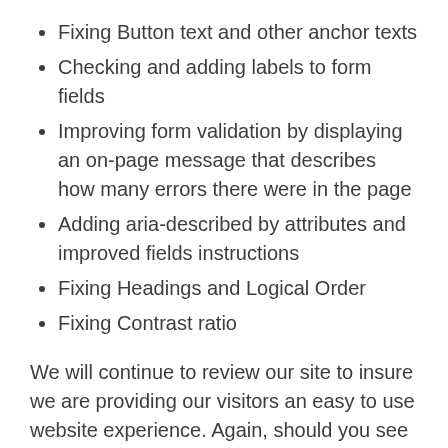Fixing Button text and other anchor texts
Checking and adding labels to form fields
Improving form validation by displaying an on-page message that describes how many errors there were in the page
Adding aria-described by attributes and improved fields instructions
Fixing Headings and Logical Order
Fixing Contrast ratio
We will continue to review our site to insure we are providing our visitors an easy to use website experience. Again, should you see anything that you